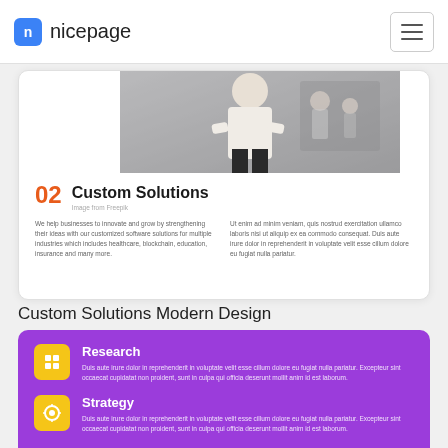nicepage
[Figure (photo): Photo of a person in a white shirt with arms crossed in an office environment]
02
Custom Solutions
Image from Freepik
We help businesses to innovate and grow by strengthening their ideas with our customized software solutions for multiple industries which includes healthcare, blockchain, education, insurance and many more.
Ut enim ad minim veniam, quis nostrud exercitation ullamco laboris nisi ut aliquip ex ea commodo consequat. Duis aute irure dolor in reprehenderit in voluptate velit esse cillum dolore eu fugiat nulla pariatur.
Custom Solutions Modern Design
Research
Duis aute irure dolor in reprehenderit in voluptate velit esse cillum dolore eu fugiat nulla pariatur. Excepteur sint occaecat cupidatat non proident, sunt in culpa qui officia deserunt mollit anim id est laborum.
Strategy
Duis aute irure dolor in reprehenderit in voluptate velit esse cillum dolore eu fugiat nulla pariatur. Excepteur sint occaecat cupidatat non proident, sunt in culpa qui officia deserunt mollit anim id est laborum.